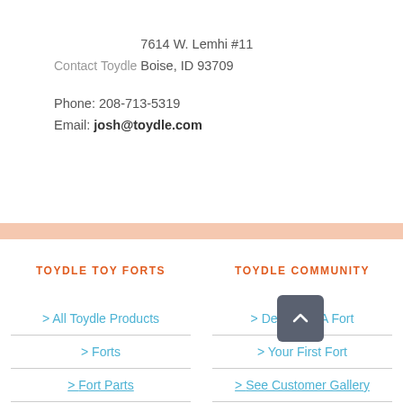Contact Toydle
7614 W. Lemhi #11
Boise, ID 93709
Phone: 208-713-5319
Email: josh@toydle.com
TOYDLE TOY FORTS
TOYDLE COMMUNITY
> All Toydle Products
> Designing A Fort
> Forts
> Your First Fort
> Fort Parts
> See Customer Gallery